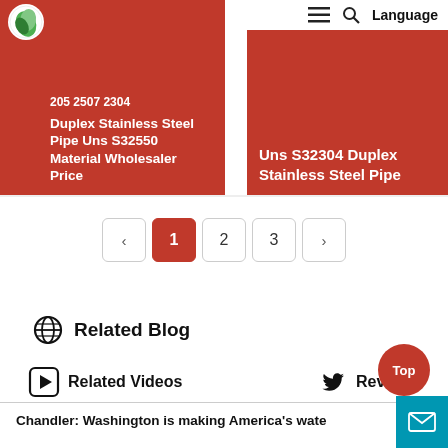[Figure (screenshot): Website screenshot showing two product cards in red for Duplex Stainless Steel pipes, navigation with hamburger menu, search icon and Language button, pagination with pages 1-3, Related Blog section with globe icon, Related Videos and Reviews sections, and a blog preview text at the bottom.]
205 2507 2304 Duplex Stainless Steel Pipe Uns S32550 Material Wholesaler Price
Uns S32304 Duplex Stainless Steel Pipe
Language
1 2 3
Related Blog
Related Videos
Reviews
Chandler: Washington is making America's wate
Top